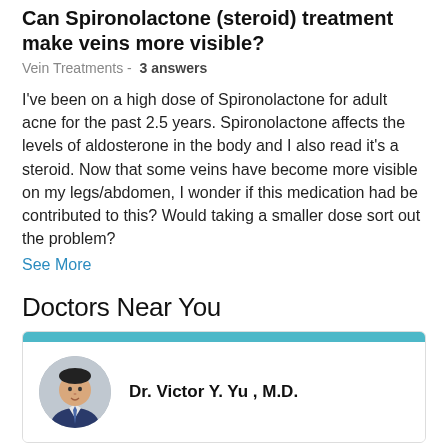Can Spironolactone (steroid) treatment make veins more visible?
Vein Treatments -  3 answers
I've been on a high dose of Spironolactone for adult acne for the past 2.5 years. Spironolactone affects the levels of aldosterone in the body and I also read it's a steroid. Now that some veins have become more visible on my legs/abdomen, I wonder if this medication had be contributed to this? Would taking a smaller dose sort out the problem?
See More
Doctors Near You
Dr. Victor Y. Yu , M.D.